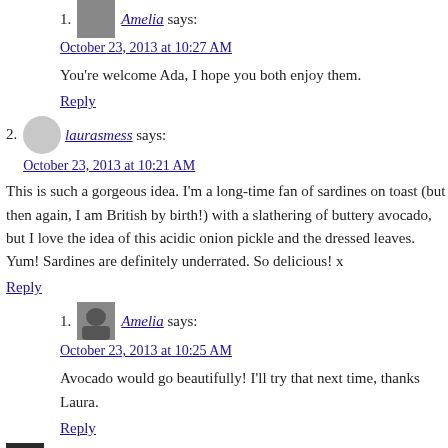1. Amelia says: October 23, 2013 at 10:27 AM
You're welcome Ada, I hope you both enjoy them.
Reply
2. laurasmess says: October 23, 2013 at 10:21 AM
This is such a gorgeous idea. I'm a long-time fan of sardines on toast (but then again, I am British by birth!) with a slathering of buttery avocado, but I love the idea of this acidic onion pickle and the dressed leaves. Yum! Sardines are definitely underrated. So delicious! x
Reply
1. Amelia says: October 23, 2013 at 10:25 AM
Avocado would go beautifully! I'll try that next time, thanks Laura.
Reply